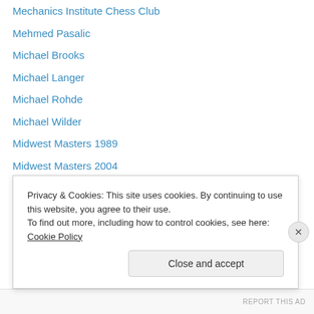Mechanics Institute Chess Club
Mehmed Pasalic
Michael Brooks
Michael Langer
Michael Rohde
Michael Wilder
Midwest Masters 1989
Midwest Masters 2004
Mikenas Attack
Modern Benoni
Modern Defense
Modern Rauser 6…Bd7
Monroi Lady
Moscow Central Chess Club
Privacy & Cookies: This site uses cookies. By continuing to use this website, you agree to their use. To find out more, including how to control cookies, see here: Cookie Policy
Close and accept